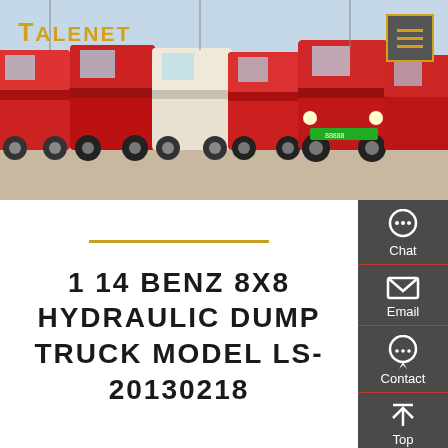[Figure (photo): A row of red and white heavy-duty trucks (cab-over style) parked in a lot, viewed from the front-left angle]
TALENET
1 14 BENZ 8X8 HYDRAULIC DUMP TRUCK MODEL LS-20130218